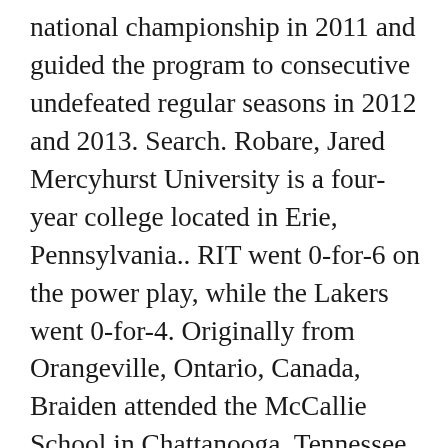national championship in 2011 and guided the program to consecutive undefeated regular seasons in 2012 and 2013. Search. Robare, Jared Mercyhurst University is a four-year college located in Erie, Pennsylvania.. RIT went 0-for-6 on the power play, while the Lakers went 0-for-4. Originally from Orangeville, Ontario, Canada, Braiden attended the McCallie School in Chattanooga, Tennessee. We ask that you consider turning off your ad blocker so we can deliver you the best experience possible while you are here. Mercyhurst is 31-5-0 all time versus RIT. The Lakers are 2-of-7 on the power play, and are 9-for-9 killing off penalties. Watch Queue Queue. COLUMBUS, Ohio – The Ohio State women's lacrosse team opens its 1999